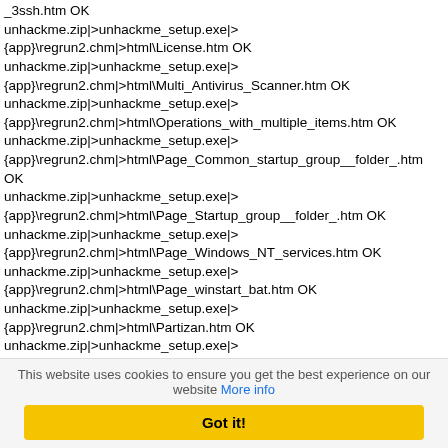_3ssh.htm OK
unhackme.zip|>unhackme_setup.exe|>{app}\regrun2.chm|>html\License.htm OK
unhackme.zip|>unhackme_setup.exe|>{app}\regrun2.chm|>html\Multi_Antivirus_Scanner.htm OK
unhackme.zip|>unhackme_setup.exe|>{app}\regrun2.chm|>html\Operations_with_multiple_items.htm OK
unhackme.zip|>unhackme_setup.exe|>{app}\regrun2.chm|>html\Page_Common_startup_group__folder_.htm OK
unhackme.zip|>unhackme_setup.exe|>{app}\regrun2.chm|>html\Page_Startup_group__folder_.htm OK
unhackme.zip|>unhackme_setup.exe|>{app}\regrun2.chm|>html\Page_Windows_NT_services.htm OK
unhackme.zip|>unhackme_setup.exe|>{app}\regrun2.chm|>html\Page_winstart_bat.htm OK
unhackme.zip|>unhackme_setup.exe|>{app}\regrun2.chm|>html\Partizan.htm OK
unhackme.zip|>unhackme_setup.exe|>{app}\regrun2.chm|>html\pop_active_setup.htm OK
unhackme.zip|>unhackme_setup.exe|>{app}\regrun2.chm|>html\pop_add_anti.htm OK
unhackme.zip|>unhackme_setup.exe|>{app}\regrun2.chm|>html\pop_anti_repl.htm OK
This website uses cookies to ensure you get the best experience on our website More info
Got it!